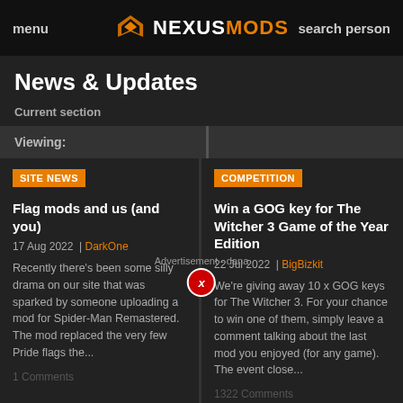menu | NEXUSMODS | search person
News & Updates
Current section
Viewing:
SITE NEWS
COMPETITION
Flag mods and us (and you)
17 Aug 2022  | DarkOne
Recently there's been some silly drama on our site that was sparked by someone uploading a mod for Spider-Man Remastered. The mod replaced the very few Pride flags the...
1 Comments
Win a GOG key for The Witcher 3 Game of the Year Edition
22 Jul 2022  | BigBizkit
We're giving away 10 x GOG keys for The Witcher 3. For your chance to win one of them, simply leave a comment talking about the last mod you enjoyed (for any game). The event close...
1322 Comments